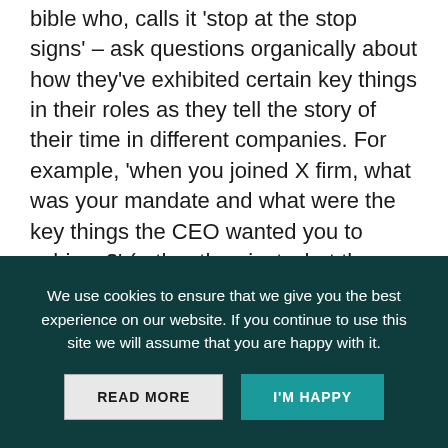bible who, calls it 'stop at the stop signs' – ask questions organically about how they've exhibited certain key things in their roles as they tell the story of their time in different companies. For example, 'when you joined X firm, what was your mandate and what were the key things the CEO wanted you to achieve?' (rather than just what they did achieve).

Insofar as it's possible, the early rounds of interviews should centre around what they have done/achieved, and not (as the common mistake goes) what they would
We use cookies to ensure that we give you the best experience on our website. If you continue to use this site we will assume that you are happy with it.
READ MORE    I'M HAPPY